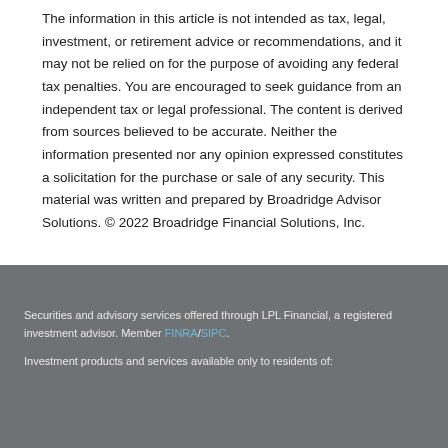The information in this article is not intended as tax, legal, investment, or retirement advice or recommendations, and it may not be relied on for the purpose of avoiding any federal tax penalties. You are encouraged to seek guidance from an independent tax or legal professional. The content is derived from sources believed to be accurate. Neither the information presented nor any opinion expressed constitutes a solicitation for the purchase or sale of any security. This material was written and prepared by Broadridge Advisor Solutions. © 2022 Broadridge Financial Solutions, Inc.
Securities and advisory services offered through LPL Financial, a registered investment advisor. Member FINRA/SIPC.

Investment products and services available only to residents of: